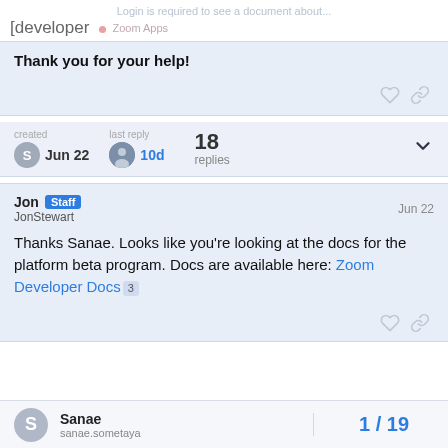Login is required to see a document about...
[developer  • Zoom Apps
Thank you for your help!
created Jun 22  last reply 10d  18 replies
Jon Staff
JonStewart
Jun 22
Thanks Sanae. Looks like you're looking at the docs for the platform beta program. Docs are available here: Zoom Developer Docs 3
Sanae  sanae.sometaya  1/19